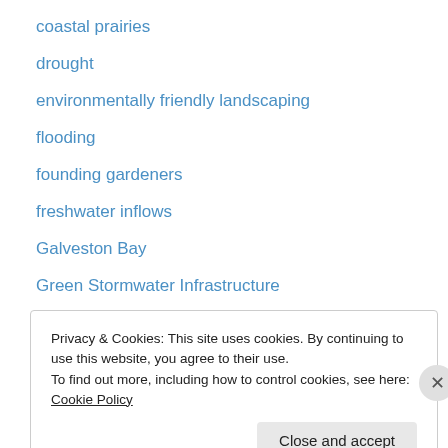coastal prairies
drought
environmentally friendly landscaping
flooding
founding gardeners
freshwater inflows
Galveston Bay
Green Stormwater Infrastructure
Harvey
Hurricane
native plants
planning
rain garden
Privacy & Cookies: This site uses cookies. By continuing to use this website, you agree to their use. To find out more, including how to control cookies, see here: Cookie Policy
Close and accept